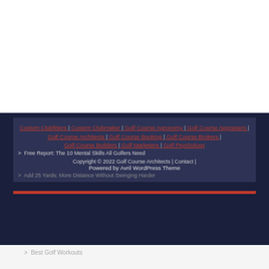Custom Clubfitters | Custom Clubmaker | Golf Course Agronomy | Golf Course Appraisers | Golf Course Architects | Golf Course Booking | Golf Course Brokers | Golf Course Builders | Golf Marketers | Golf Psychology
> Free Report: The 10 Mental Skills All Golfers Need
Copyright © 2022 Golf Course Architects | Contact | Powered by Avril WordPress Theme
> Add 25 Yards: More Distance Without Swinging Harder
> Best Golf Workouts